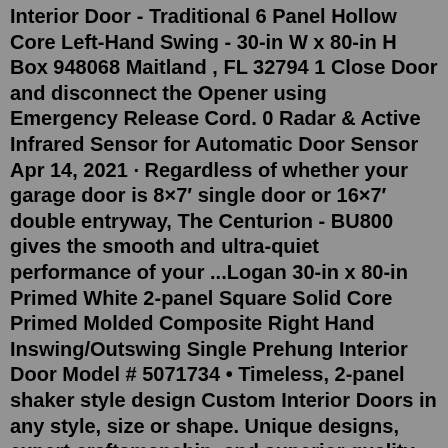Interior Door - Traditional 6 Panel Hollow Core Left-Hand Swing - 30-in W x 80-in H Box 948068 Maitland , FL 32794 1 Close Door and disconnect the Opener using Emergency Release Cord. 0 Radar & Active Infrared Sensor for Automatic Door Sensor Apr 14, 2021 · Regardless of whether your garage door is 8×7′ single door or 16×7′ double entryway, The Centurion - BU800 gives the smooth and ultra-quiet performance of your ...Logan 30-in x 80-in Primed White 2-panel Square Solid Core Primed Molded Composite Right Hand Inswing/Outswing Single Prehung Interior Door Model # 5071734 • Timeless, 2-panel shaker style design Custom Interior Doors in any style, size or shape. Unique designs, expert craftsmanship, and superior quality hardwoods for supreme customer satisfaction. ... DBI-501 Classic Solid Wood Custom Interior Door. Single 36 x 80 Shown in Knotty Alder Wood with Light Knotty Alder Finish Custom ... DBI-701 Classic Solid Wood Custom Interior Door ...Shop 30-in x 80-in Primed 5-Lite White Laminated Glass Interior Slab